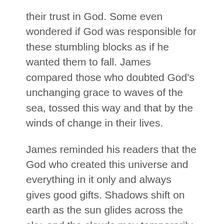their trust in God. Some even wondered if God was responsible for these stumbling blocks as if he wanted them to fall. James compared those who doubted God's unchanging grace to waves of the sea, tossed this way and that by the winds of change in their lives.
James reminded his readers that the God who created this universe and everything in it only and always gives good gifts. Shadows shift on earth as the sun glides across the sky, and the clouds may temporarily dim its light. But the sun itself and the live-sustaining heat it emits are not diminished. So also, our heavenly Father and his eternal love for us do not change just